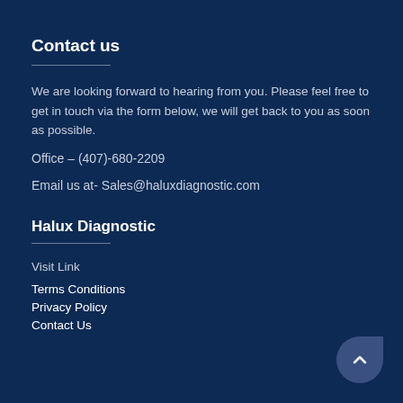Contact us
We are looking forward to hearing from you. Please feel free to get in touch via the form below, we will get back to you as soon as possible.
Office – (407)-680-2209
Email us at- Sales@haluxdiagnostic.com
Halux Diagnostic
Visit Link
Terms Conditions
Privacy Policy
Contact Us